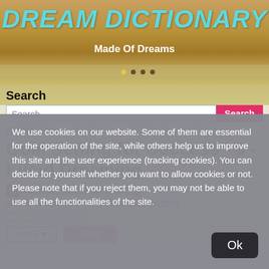DREAM DICTIONARY
Made Of Dreams
Search
Search ...
Home
Goal Setting for Success - 3 - Lucid Dreaming
Published: 20 October 2020 | Written by Super User | Print | Email | Hits: 2074
Vote 5 ... Rate
We use cookies on our website. Some of them are essential for the operation of the site, while others help us to improve this site and the user experience (tracking cookies). You can decide for yourself whether you want to allow cookies or not. Please note that if you reject them, you may not be able to use all the functionalities of the site.